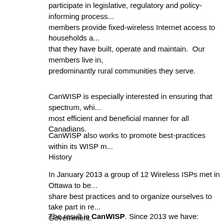participate in legislative, regulatory and policy-informing process... members provide fixed-wireless Internet access to households a... that they have built, operate and maintain. Our members live in, predominantly rural communities they serve.
CanWISP is especially interested in ensuring that spectrum, whi... most efficient and beneficial manner for all Canadians.
CanWISP also works to promote best-practices within its WISP m...
History
In January 2013 a group of 12 Wireless ISPs met in Ottawa to be... share best practices and to organize ourselves to take part in re... Government.
The result is CanWISP. Since 2013 we have:
Collaborated with CNOC to respond to “Consultation on Rene... Licences”
Launched a website and mailing lists
Secured meetings with Industry Canada to discuss the needs...
Contributed to the White Space technical committee with Indu...
Code of Ethics